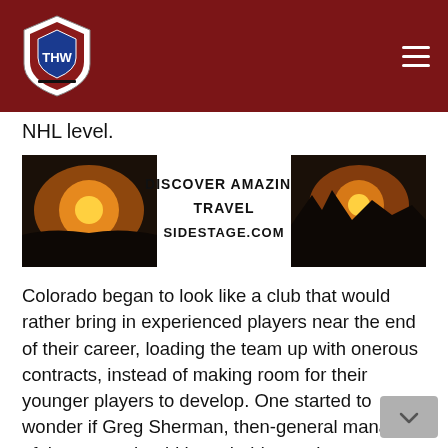THW - The Hockey Writers
NHL level.
[Figure (other): Advertisement banner: DISCOVER AMAZING TRAVEL SIDESTAGE.COM, with sunset/nature images on each side]
Colorado began to look like a club that would rather bring in experienced players near the end of their career, loading the team up with onerous contracts, instead of making room for their younger players to develop. One started to wonder if Greg Sherman, then-general manager of the team, should have held onto the checkbook a little tighter.
Avs Backed Themselves Into Trouble